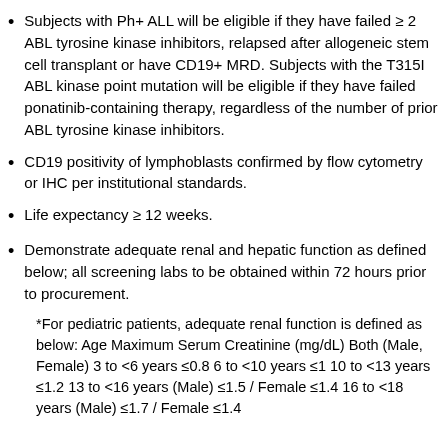Subjects with Ph+ ALL will be eligible if they have failed ≥ 2 ABL tyrosine kinase inhibitors, relapsed after allogeneic stem cell transplant or have CD19+ MRD. Subjects with the T315I ABL kinase point mutation will be eligible if they have failed ponatinib-containing therapy, regardless of the number of prior ABL tyrosine kinase inhibitors.
CD19 positivity of lymphoblasts confirmed by flow cytometry or IHC per institutional standards.
Life expectancy ≥ 12 weeks.
Demonstrate adequate renal and hepatic function as defined below; all screening labs to be obtained within 72 hours prior to procurement.
*For pediatric patients, adequate renal function is defined as below: Age Maximum Serum Creatinine (mg/dL) Both (Male, Female) 3 to <6 years ≤0.8 6 to <10 years ≤1 10 to <13 years ≤1.2 13 to <16 years (Male) ≤1.5 / Female ≤1.4 16 to <18 years (Male) ≤1.7 / Female ≤1.4